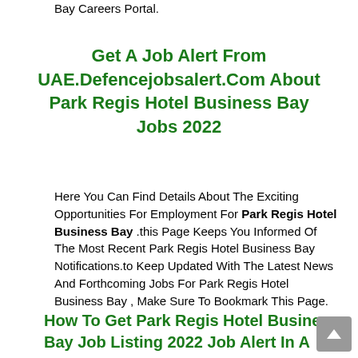Bay Careers Portal.
Get A Job Alert From UAE.Defencejobsalert.Com About Park Regis Hotel Business Bay Jobs 2022
Here You Can Find Details About The Exciting Opportunities For Employment For Park Regis Hotel Business Bay .this Page Keeps You Informed Of The Most Recent Park Regis Hotel Business Bay Notifications.to Keep Updated With The Latest News And Forthcoming Jobs For Park Regis Hotel Business Bay , Make Sure To Bookmark This Page.
How To Get Park Regis Hotel Business Bay Job Listing 2022 Job Alert In A Hurry